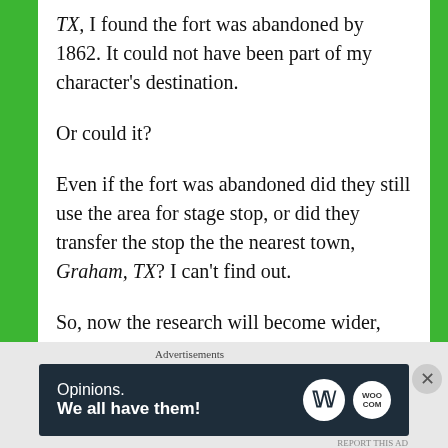TX, I found the fort was abandoned by 1862. It could not have been part of my character's destination.
Or could it?
Even if the fort was abandoned did they still use the area for stage stop, or did they transfer the stop the the nearest town, Graham, TX? I can't find out.
So, now the research will become wider, and will probably require phone calls or emails to people who might know. But this is the fun stuff. I need an expert on the Overland Stage in 1869 in Texas.
Advertisements
[Figure (other): Green advertisement banner with white dot and gray bar]
Advertisements
[Figure (other): WordPress advertisement banner: Opinions. We all have them! with WordPress and WooCommerce logos]